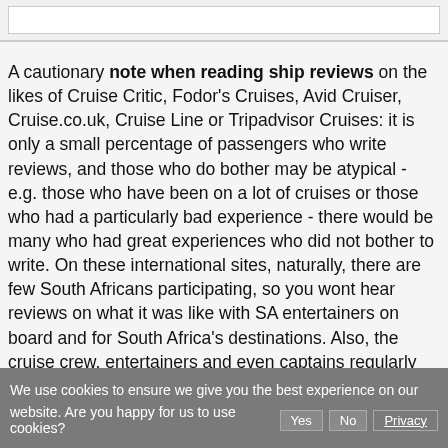[Figure (screenshot): Top browser bar with a white input/address box]
A cautionary note when reading ship reviews on the likes of Cruise Critic, Fodor's Cruises, Avid Cruiser, Cruise.co.uk, Cruise Line or Tripadvisor Cruises: it is only a small percentage of passengers who write reviews, and those who do bother may be atypical - e.g. those who have been on a lot of cruises or those who had a particularly bad experience - there would be many who had great experiences who did not bother to write. On these international sites, naturally, there are few South Africans participating, so you wont hear reviews on what it was like with SA entertainers on board and for South Africa's destinations. Also, the cruise crew, entertainers and even captains regularly change; so those with whom a bad experience was had may have changed. Naturally, it's the luck of the draw as far as fellow passengers go. Our best advice is to make the most of the cruise, irrespective of
We use cookies to ensure we give you the best experience on our website. Are you happy for us to use cookies?  Yes  No  Privacy